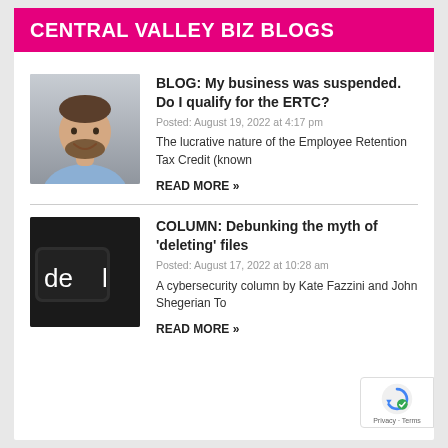CENTRAL VALLEY BIZ BLOGS
[Figure (photo): Headshot of a man with beard, light blue shirt, smiling, against a light grey background]
BLOG: My business was suspended. Do I qualify for the ERTC?
Posted: August 19, 2022 at 4:17 pm
The lucrative nature of the Employee Retention Tax Credit (known
READ MORE »
[Figure (photo): Close-up of a dark keyboard key with 'del' text in white, black background]
COLUMN: Debunking the myth of 'deleting' files
Posted: August 17, 2022 at 10:28 am
A cybersecurity column by Kate Fazzini and John Shegerian To
READ MORE »